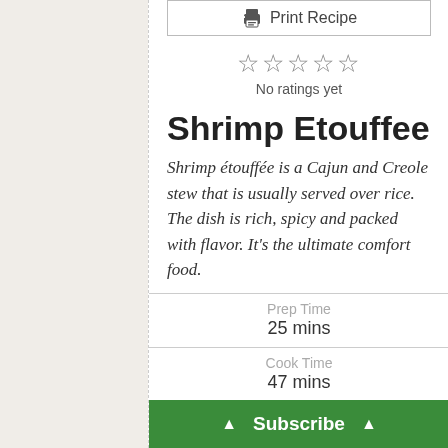Print Recipe
☆☆☆☆☆
No ratings yet
Shrimp Etouffee
Shrimp étouffée is a Cajun and Creole stew that is usually served over rice. The dish is rich, spicy and packed with flavor. It's the ultimate comfort food.
Prep Time
25 mins
Cook Time
47 mins
Subscribe